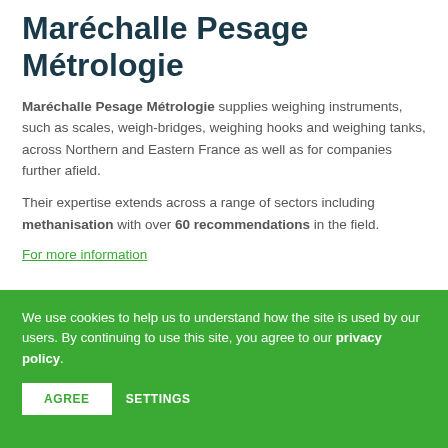Maréchalle Pesage Métrologie
Maréchalle Pesage Métrologie supplies weighing instruments, such as scales, weigh-bridges, weighing hooks and weighing tanks, across Northern and Eastern France as well as for companies further afield.
Their expertise extends across a range of sectors including methanisation with over 60 recommendations in the field.
For more information
We use cookies to help us to understand how the site is used by our users. By continuing to use this site, you agree to our privacy policy.
AGREE
SETTINGS